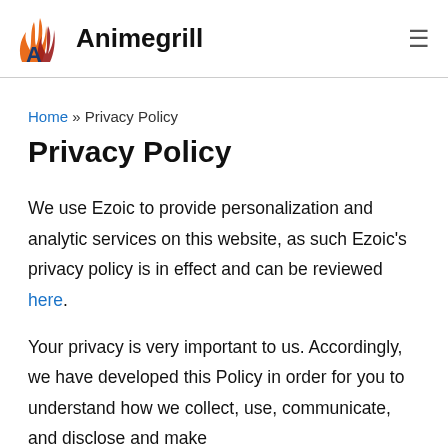Animegrill
Home » Privacy Policy
Privacy Policy
We use Ezoic to provide personalization and analytic services on this website, as such Ezoic's privacy policy is in effect and can be reviewed here.
Your privacy is very important to us. Accordingly, we have developed this Policy in order for you to understand how we collect, use, communicate, and disclose and make